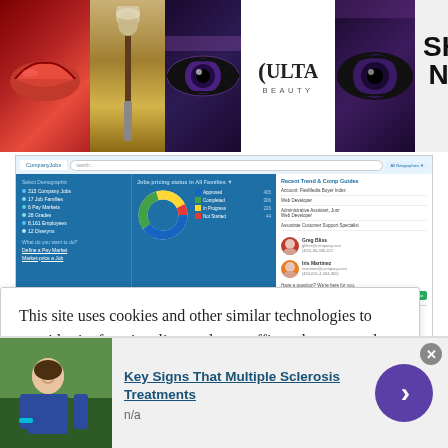[Figure (screenshot): Ulta Beauty banner advertisement with makeup imagery (lips, brush, eye) and SHOP NOW call to action with close button]
[Figure (screenshot): Screenshot of a job/career website showing company jobs, job families, pay markets, grades, employees, and divisions data with a donut chart and employee profiles panel]
Career Path for Mechanical Engineer III
[Figure (screenshot): Cookie consent popup: 'This site uses cookies and other similar technologies to provide site functionality, analyze traffic and usage, and']
[Figure (photo): Bottom advertisement: Key Signs That Multiple Sclerosis Treatments, n/a — with photo of person outdoors and purple arrow button]